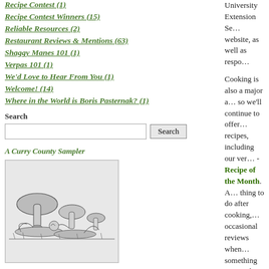Recipe Contest (1)
Recipe Contest Winners (15)
Reliable Resources (2)
Restaurant Reviews & Mentions (63)
Shaggy Manes 101 (1)
Verpas 101 (1)
We'd Love to Hear From You (1)
Welcome! (14)
Where in the World is Boris Pasternak? (1)
Search
A Curry County Sampler
[Figure (illustration): Black and white illustration of mushrooms with leaves and foliage]
University Extension Se... website, as well as respo... Cooking is also a major a... so we'll continue to offer... recipes, including our ver... - Recipe of the Month. A... thing to do after cooking,... occasional reviews when... something nice with mus... Contest shall continue, so... those entries in! Our features on specific m... Verpas 101, to name two... can expect those will be e... of course, our field repor... future, we'll strive to alw... Thanks, finally, to you, o... response has energized us... website, honing and refin... hearing from you, with yo... from a different perspecti... welcome. And if you run...